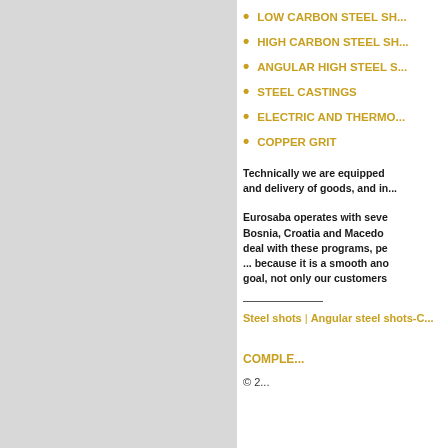LOW CARBON STEEL SH...
HIGH CARBON STEEL SH...
ANGULAR HIGH STEEL S...
STEEL CASTINGS
ELECTRIC AND THERMO...
COPPER GRIT
Technically we are equipped... and delivery of goods, and in...
Eurosaba operates with seve... Bosnia, Croatia and Macedo... deal with these programs, pe... ... because it is a smooth ano... goal, not only our customers...
Steel shots | Angular steel shots-C... COMPLE... © 2...